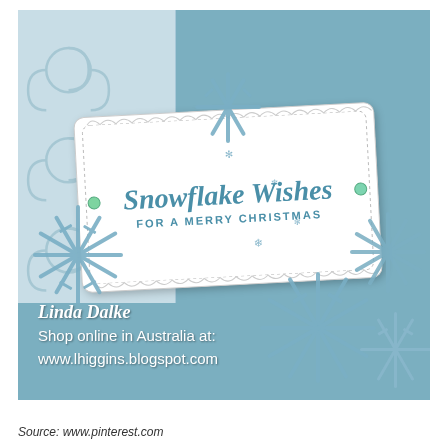[Figure (photo): A handmade Christmas card featuring a blue textured background with an embossed swirl panel on the left. A white scalloped label reads 'Snowflake Wishes FOR A MERRY CHRISTMAS' in blue ink, decorated with glitter blue snowflake die cuts. Overlay text reads: Linda Dalke / Shop online in Australia at: / www.lhiggins.blogspot.com]
Source: www.pinterest.com